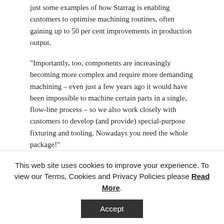just some examples of how Starrag is enabling customers to optimise machining routines, often gaining up to 50 per cent improvements in production output.
"Importantly, too, components are increasingly becoming more complex and require more demanding machining – even just a few years ago it would have been impossible to machine certain parts in a single, flow-line process – so we also work closely with customers to develop (and provide) special-purpose fixturing and tooling. Nowadays you need the whole package!"
Guest speakers Mauro Fioretti and Andrea Maurizio, president and chief of technology,
This web site uses cookies to improve your experience. To view our Terms, Cookies and Privacy Policies please Read More.
Accept